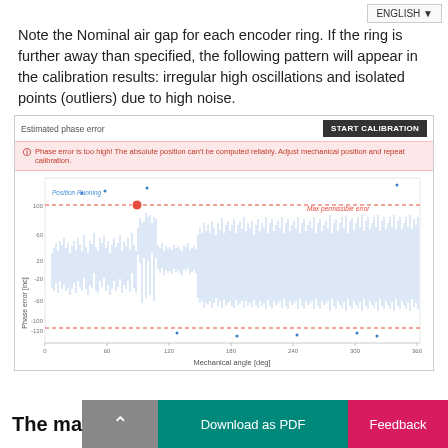ENGLISH
Note the Nominal air gap for each encoder ring. If the ring is further away than specified, the following pattern will appear in the calibration results: irregular high oscillations and isolated points (outliers) due to high noise.
[Figure (screenshot): Screenshot of calibration software UI showing 'Estimated phase error' label, a 'START CALIBRATION' button, a red error banner reading 'Phase error is too high! The absolute position can't be computed reliably. Adjust mechanical position and repeat calibration.', and a scatter plot of Phase error [inc] vs Mechanical angle [deg] showing irregular high oscillations and isolated outlier points in blue with red dashed limit lines.]
The ma... ng